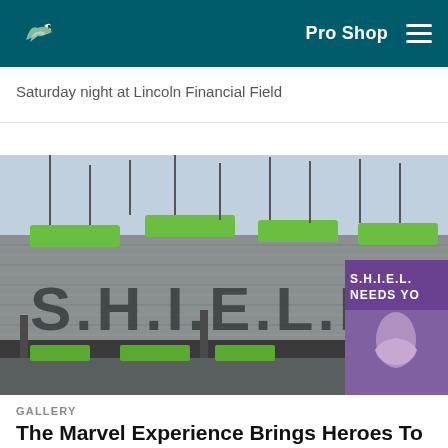Pro Shop
Saturday night at Lincoln Financial Field
[Figure (photo): Exterior view of S.H.I.E.L.D. branded shipping containers with green panels on top and stage lighting rigs; a S.H.I.E.L.D. NEEDS YOU poster visible on the right side]
GALLERY
The Marvel Experience Brings Heroes To LFF
Training Camp Open Practices don't start until August, but there's still plenty of action at the Eagles Nest on The Marvel